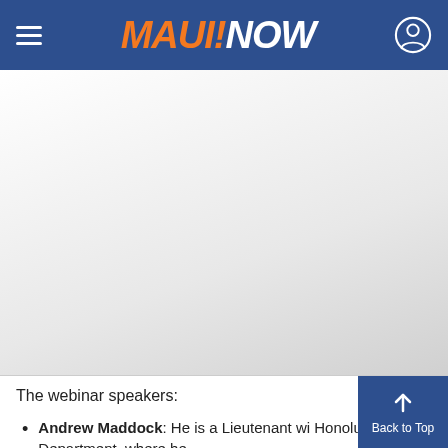MAUI!NOW
[Figure (other): Gray advertisement or image placeholder area below the header navigation bar]
The webinar speakers:
Andrew Maddock: He is a Lieutenant wi... Honolulu Police Department, where he